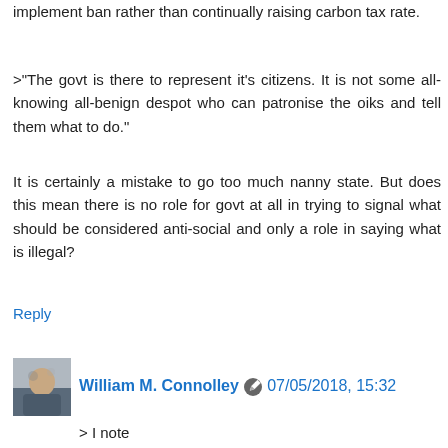implement ban rather than continually raising carbon tax rate.
>"The govt is there to represent it's citizens. It is not some all-knowing all-benign despot who can patronise the oiks and tell them what to do."
It is certainly a mistake to go too much nanny state. But does this mean there is no role for govt at all in trying to signal what should be considered anti-social and only a role in saying what is illegal?
Reply
William M. Connolley  07/05/2018, 15:32
> I note
Well spotted. My hard-line inclination would be to say that standardised comparable scores make sense for everyone, so manufacturers should want to do them anyway. A slightly less hard line is that there exist a wide variety of consumer/ independent test organisations. So I'm dubious govt-